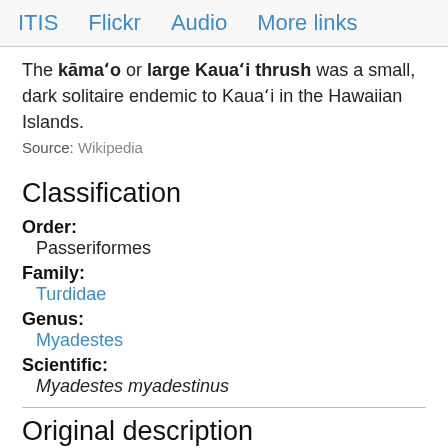ITIS   Flickr   Audio   More links
The kāmaʻo or large Kauaʻi thrush was a small, dark solitaire endemic to Kauaʻi in the Hawaiian Islands.
Source: Wikipedia
Classification
Order: Passeriformes
Family: Turdidae
Genus: Myadestes
Scientific: Myadestes myadestinus
Original description